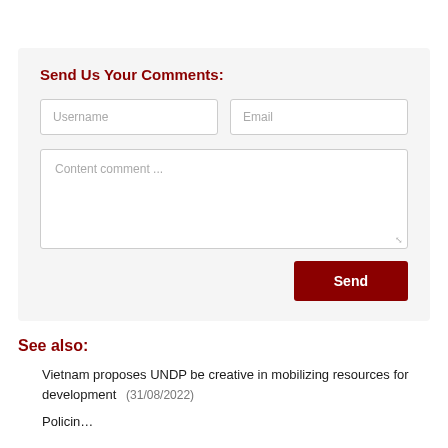Send Us Your Comments:
Username
Email
Content comment ...
Send
See also:
Vietnam proposes UNDP be creative in mobilizing resources for development (31/08/2022)